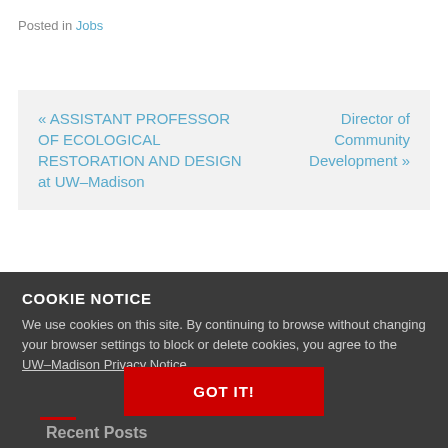Posted in Jobs
« ASSISTANT PROFESSOR OF ECOLOGICAL RESTORATION AND DESIGN at UW–Madison
Director of Community Development »
COOKIE NOTICE
We use cookies on this site. By continuing to browse without changing your browser settings to block or delete cookies, you agree to the UW–Madison Privacy Notice.
GOT IT!
Recent Posts